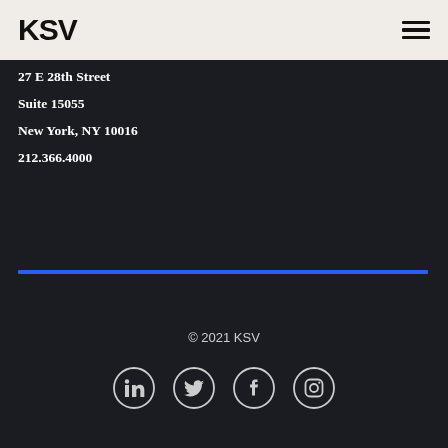KSV
27 E 28th Street
Suite 15055
New York, NY 10016
212.366.4000
© 2021 KSV
[Figure (other): Social media icons: LinkedIn, Twitter, Facebook, Instagram]